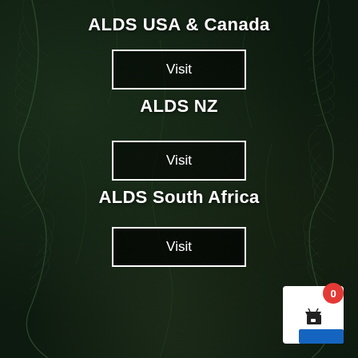ALDS USA & Canada
[Figure (other): White-bordered Visit button for ALDS NZ]
ALDS NZ
[Figure (other): White-bordered Visit button for ALDS South Africa]
ALDS South Africa
[Figure (other): White-bordered Visit button (third section)]
[Figure (infographic): Shopping cart widget with red badge showing count 0, white card background and blue tab]